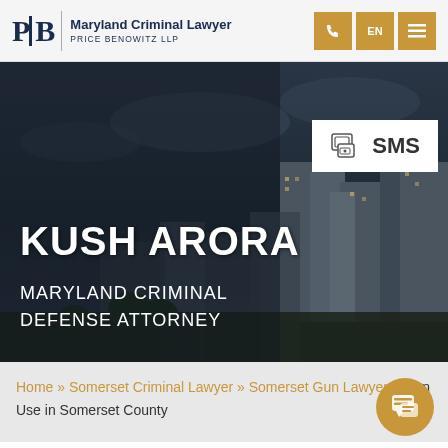Maryland Criminal Lawyer PRICE BENOWITZ LLP
[Figure (screenshot): Hero image showing city skyline with dark overlay background]
KUSH ARORA
MARYLAND CRIMINAL DEFENSE ATTORNEY
Home » Somerset Criminal Lawyer » Somerset Gun Lawyer » Gun Use in Somerset County